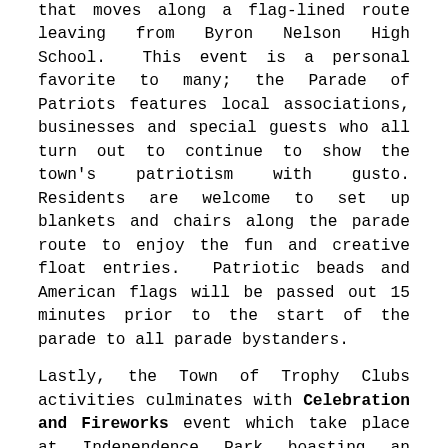that moves along a flag-lined route leaving from Byron Nelson High School.  This event is a personal favorite to many; the Parade of Patriots features local associations, businesses and special guests who all turn out to continue to show the town's patriotism with gusto. Residents are welcome to set up blankets and chairs along the parade route to enjoy the fun and creative float entries.  Patriotic beads and American flags will be passed out 15 minutes prior to the start of the parade to all parade bystanders.
Lastly, the Town of Trophy Clubs activities culminates with Celebration and Fireworks event which take place at Independence Park boasting an attendance of nearly 4,000 people.  Featuring a safe and family atmosphere for people to come and enjoy live entertainment, activities for kids, food and drink options, and a glittering display of fireworks.  Make sure you find a good spot to watch the fireworks at 9:30 p.m.  Launched from nearby and synchronized to patriotic favorites, the best view spots can be seen from in and around Independence Park.  Be sure to bring blankets and lawn chairs.  It is the perfect ending